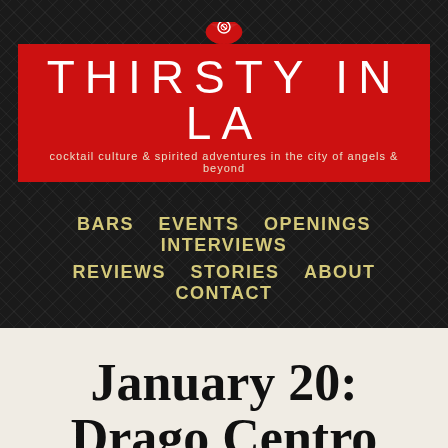[Figure (logo): Thirsty In LA logo with red banner, martini glass icon, site title and tagline]
BARS  EVENTS  OPENINGS  INTERVIEWS  REVIEWS  STORIES  ABOUT  CONTACT
January 20: Drago Centro Winter Cocktail M…